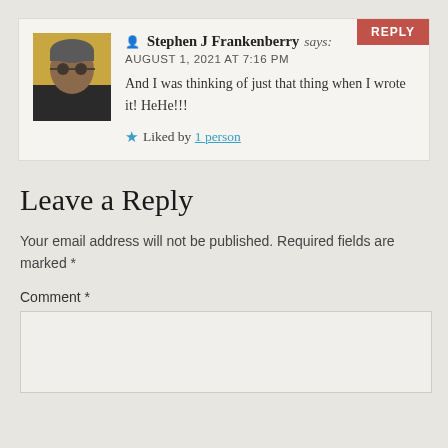Stephen J Frankenberry says:
AUGUST 1, 2021 AT 7:16 PM
And I was thinking of just that thing when I wrote it! HeHe!!!
★ Liked by 1 person
Leave a Reply
Your email address will not be published. Required fields are marked *
Comment *